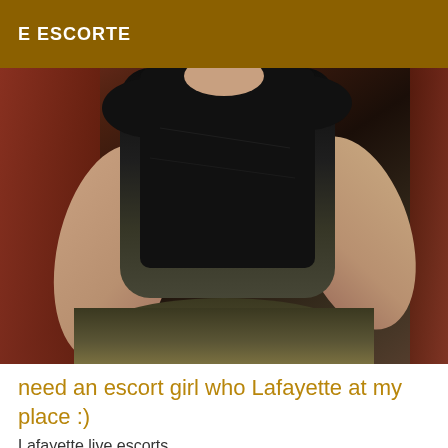E ESCORTE
[Figure (photo): A person wearing a black tank top, photographed from the neck down, seated on what appears to be a red/brown sofa. Their arms are visible on either side. The lower portion shows olive/dark colored pants or shorts.]
need an escort girl who Lafayette at my place :)
Lafayette live escorts